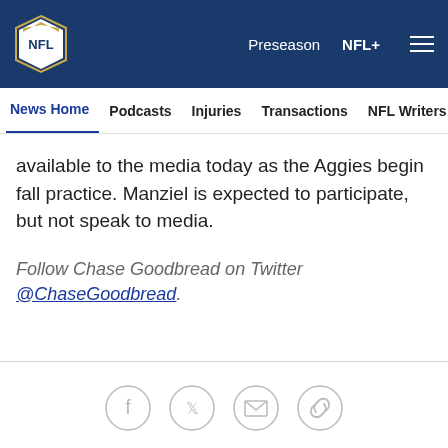NFL — Preseason | NFL+
News Home | Podcasts | Injuries | Transactions | NFL Writers | Se
available to the media today as the Aggies begin fall practice. Manziel is expected to participate, but not speak to media.
Follow Chase Goodbread on Twitter @ChaseGoodbread.
[Figure (other): Social sharing icons: Facebook, Twitter, Email, Link]